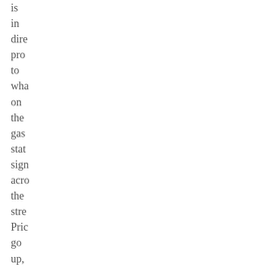is
in
dire
pro
to
wha
on
the
gas
stat
sign
acro
the
stre
Pric
go
up,
littl
cars
go
up.
Pric
go